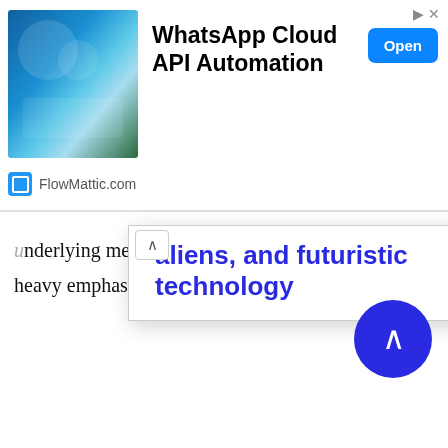[Figure (screenshot): Advertisement banner for WhatsApp Cloud API Automation by FlowMattic.com, showing a tech image on the left, bold title text, and an Open button]
underlying message, The Herculoids has a heavy emphasis on action and conflict.
aliens, and futuristic technology
Zandor, stoically voiced by Mike Road, is the clear-cut protagonist. The barbarian-like character stops his evil opponents with the mighty abilities of his strange friends. Zandor's adventures always include his wife Tara (Virginia Gregg) and young son Dorno. Tara and Dorno often end up as hostages to the aliens constantly looking to take over the planet. There's little